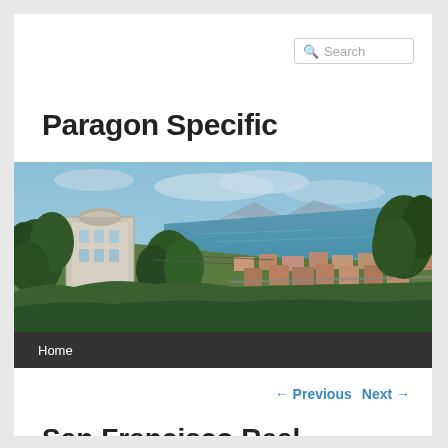Search
Paragon Specific
[Figure (photo): Aerial/elevated view of San Francisco cityscape with Victorian house on left, tree coverage, residential rooftops, and San Francisco Bay with hills in the background under a cloudy sky.]
Home
← Previous   Next →
San Francisco Real